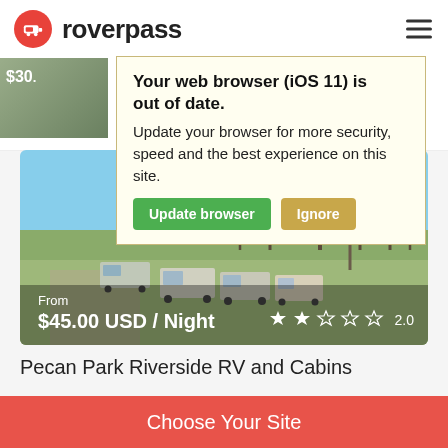roverpass
Your web browser (iOS 11) is out of date. Update your browser for more security, speed and the best experience on this site.
Update browser | Ignore
$30...
Circl...
Lock...
[Figure (photo): Aerial/elevated view of Pecan Park Riverside RV and Cabins showing RV sites with parked RVs, bare winter trees, and a blue sky. Price overlay shows From $45.00 USD / Night with a 2.0 star rating.]
From
$45.00 USD / Night
2.0
Pecan Park Riverside RV and Cabins
Choose Your Site